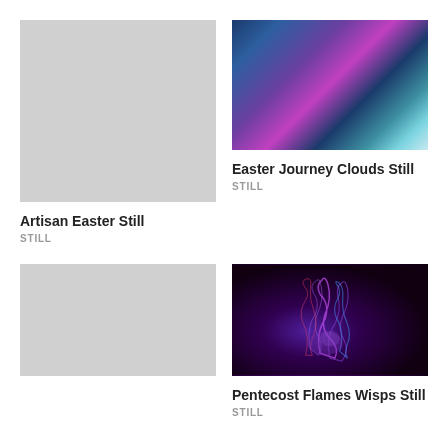[Figure (photo): Light gray placeholder image for Artisan Easter Still]
Artisan Easter Still
STILL
[Figure (photo): Abstract colorful clouds image with blue, purple, pink, and teal tones for Easter Journey Clouds Still]
Easter Journey Clouds Still
STILL
[Figure (photo): Light gray placeholder image for second card]
[Figure (photo): Dark background with colorful flame wisps in purple, blue, and pink for Pentecost Flames Wisps Still]
Pentecost Flames Wisps Still
STILL